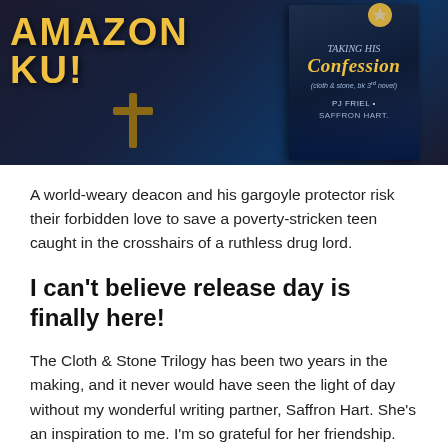[Figure (illustration): Dark blue banner image with bold yellow 'AMAZON KU!' text on the left side and a book cover for 'Taking His Confession' by PJ Friel and Saffron Hart on the right side, against a night cityscape background.]
A world-weary deacon and his gargoyle protector risk their forbidden love to save a poverty-stricken teen caught in the crosshairs of a ruthless drug lord.
I can't believe release day is finally here!
The Cloth & Stone Trilogy has been two years in the making, and it never would have seen the light of day without my wonderful writing partner, Saffron Hart. She's an inspiration to me. I'm so grateful for her friendship. And I'm extremely proud of the books we've created. Gideon and Cordero have an amazing love story. I can't wait for